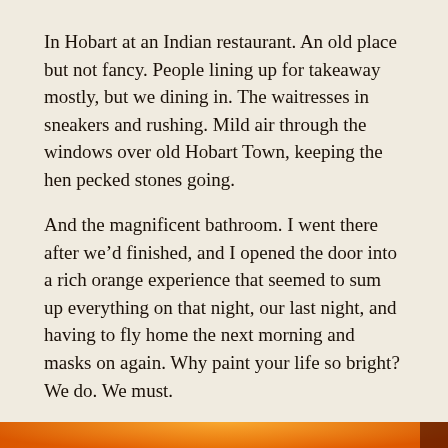In Hobart at an Indian restaurant. An old place but not fancy. People lining up for takeaway mostly, but we dining in. The waitresses in sneakers and rushing. Mild air through the windows over old Hobart Town, keeping the hen pecked stones going.
And the magnificent bathroom. I went there after we'd finished, and I opened the door into a rich orange experience that seemed to sum up everything on that night, our last night, and having to fly home the next morning and masks on again. Why paint your life so bright? We do. We must.
[Figure (photo): A bathroom interior bathed in vivid orange-red light. The walls and ceiling glow intensely orange. A mirror or picture frame is visible on the left wall with a dark shadow. On the right wall are decorative hooks or coat hangers in dark metal, silhouetted against the glowing orange wall. The ceiling has a cornice/molding visible at the top.]